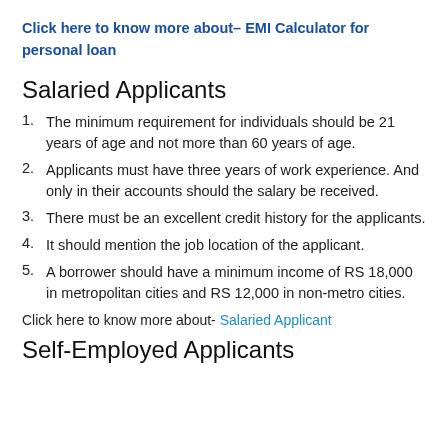Click here to know more about– EMI Calculator for personal loan
Salaried Applicants
The minimum requirement for individuals should be 21 years of age and not more than 60 years of age.
Applicants must have three years of work experience. And only in their accounts should the salary be received.
There must be an excellent credit history for the applicants.
It should mention the job location of the applicant.
A borrower should have a minimum income of RS 18,000 in metropolitan cities and RS 12,000 in non-metro cities.
Click here to know more about- Salaried Applicant
Self-Employed Applicants